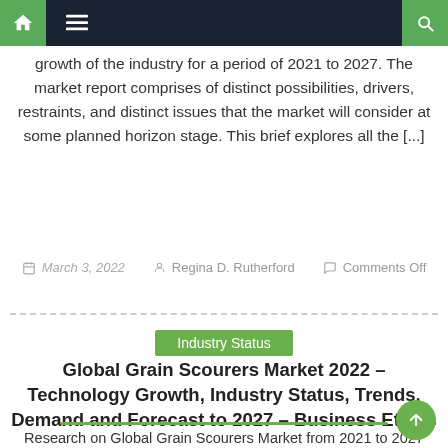Navigation bar with home, menu, and search icons
growth of the industry for a period of 2021 to 2027. The market report comprises of distinct possibilities, drivers, restraints, and distinct issues that the market will consider at some planned horizon stage. This brief explores all the [...]
March 3, 2022   Regina D. Rutherford   Comments Off
Industry Status
Global Grain Scourers Market 2022 – Technology Growth, Industry Status, Trends, Demand and Forecast to 2027 – Business Ethics
Research on Global Grain Scourers Market from 2021 to 2027